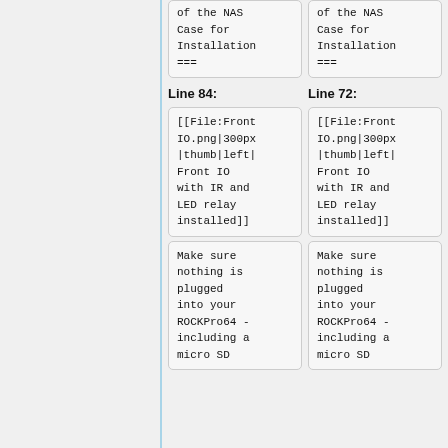of the NAS Case for Installation
===
of the NAS Case for Installation
===
Line 84:
Line 72:
[[File:FrontIO.png|300px|thumb|left|Front IO with IR and LED relay installed]]
[[File:FrontIO.png|300px|thumb|left|Front IO with IR and LED relay installed]]
Make sure nothing is plugged into your ROCKPro64 - including a micro SD
Make sure nothing is plugged into your ROCKPro64 - including a micro SD